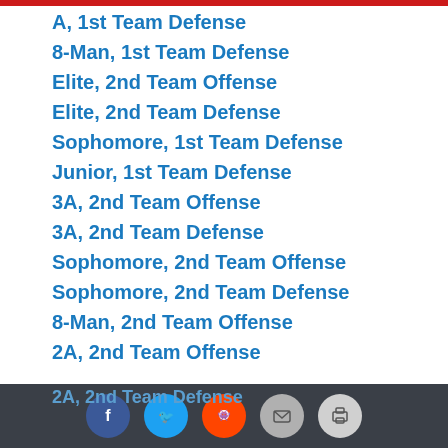A, 1st Team Defense
8-Man, 1st Team Defense
Elite, 2nd Team Offense
Elite, 2nd Team Defense
Sophomore, 1st Team Defense
Junior, 1st Team Defense
3A, 2nd Team Offense
3A, 2nd Team Defense
Sophomore, 2nd Team Offense
Sophomore, 2nd Team Defense
8-Man, 2nd Team Offense
2A, 2nd Team Offense
2A, 2nd Team Defense